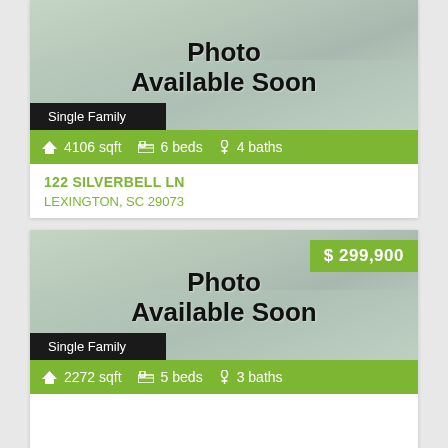[Figure (photo): Listing card 1: Photo Available Soon placeholder image with Single Family badge, price not visible, 4106 sqft, 6 beds, 4 baths]
4106 sqft  6 beds  4 baths
122 SILVERBELL LN
LEXINGTON, SC 29073
[Figure (photo): Listing card 2: Photo Available Soon placeholder image with Single Family badge, price $299,900, 2272 sqft, 5 beds, 3 baths]
$ 299,900
2272 sqft  5 beds  3 baths